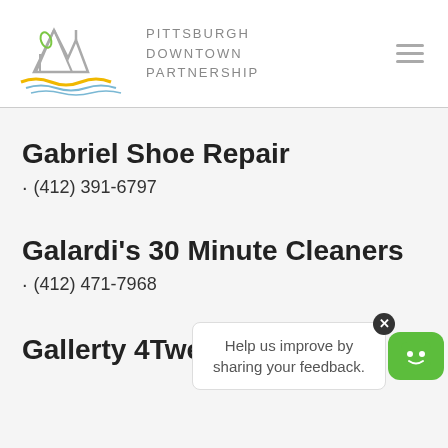[Figure (logo): Pittsburgh Downtown Partnership logo with mountain/bridge graphic and text 'PITTSBURGH DOWNTOWN PARTNERSHIP']
Gabriel Shoe Repair
· (412) 391-6797
Galardi's 30 Minute Cleaners
· (412) 471-7968
[Figure (screenshot): Feedback tooltip overlay: 'Help us improve by sharing your feedback.' with close button and green chatbot icon]
Gallerty 4Twelve